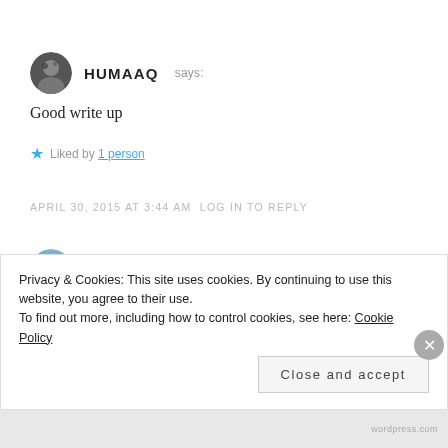[Figure (photo): Avatar image of user HUMAAQ, small circular dark photo]
HUMAAQ says:
Good write up
Liked by 1 person
APRIL 30, 2015 AT 3:44 AM LOG IN TO REPLY
[Figure (photo): Avatar image of user LANDOFIMAGES, small circular landscape photo]
LANDOFIMAGES says:
Privacy & Cookies: This site uses cookies. By continuing to use this website, you agree to their use. To find out more, including how to control cookies, see here: Cookie Policy
Close and accept